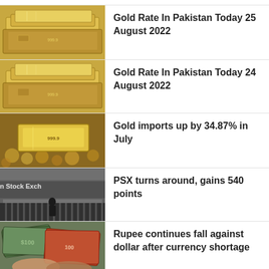[Figure (photo): Gold bars stacked, shiny golden color]
Gold Rate In Pakistan Today 25 August 2022
[Figure (photo): Gold bars stacked, shiny golden color]
Gold Rate In Pakistan Today 24 August 2022
[Figure (photo): Gold bar on gold coins background, blurred]
Gold imports up by 34.87% in July
[Figure (photo): Pakistan Stock Exchange building sign]
PSX turns around, gains 540 points
[Figure (photo): Hands holding dollar bills and Pakistani rupee notes]
Rupee continues fall against dollar after currency shortage